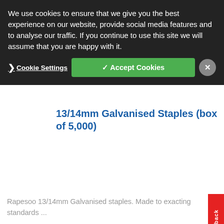We use cookies to ensure that we give you the best experience on our website, provide social media features and to analyse our traffic. If you continue to use this site we will assume that you are happy with it.
Cookie Settings | ✓ Accept Cookies | ×
13/14mm Galvanised Staples (box of 5,000)
Rapesoo 13/14mm Galvanised staples. Made to exacting standards ...
Item No: S13147Z3
Find out more ▶
Feedback